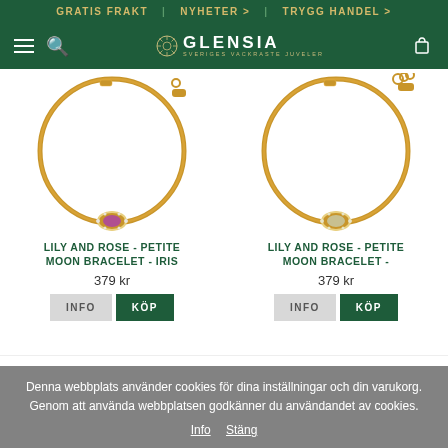GRATIS FRAKT | NYHETER > | TRYGG HANDEL >
[Figure (logo): Glensia jewelry store navigation bar with hamburger menu, search icon, Glensia logo, and cart icon]
[Figure (photo): Lily and Rose - Petite Moon Bracelet - Iris: gold chain bracelet with oval pink/purple gemstone center piece surrounded by small diamonds]
LILY AND ROSE - PETITE MOON BRACELET - IRIS
379 kr
[Figure (photo): Lily and Rose - Petite Moon Bracelet: gold chain bracelet with oval white/diamond center piece]
LILY AND ROSE - PETITE MOON BRACELET -
379 kr
Denna webbplats använder cookies för dina inställningar och din varukorg. Genom att använda webbplatsen godkänner du användandet av cookies.
Info  Stäng